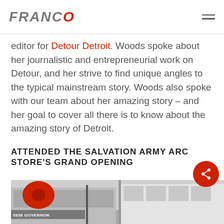FRANCO
editor for Detour Detroit. Woods spoke about her journalistic and entrepreneurial work on Detour, and her strive to find unique angles to the typical mainstream story. Woods also spoke with our team about her amazing story – and her goal to cover all there is to know about the amazing story of Detroit.
ATTENDED THE SALVATION ARMY ARC STORE'S GRAND OPENING
[Figure (photo): Street-level photo of a building exterior, showing a red balloon-style sign and a street sign reading 5858 GOVERNOR]